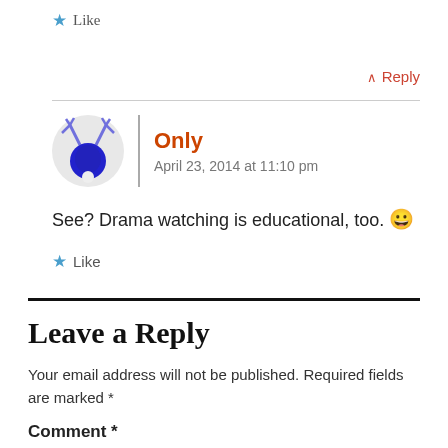★ Like
↑ Reply
Only
April 23, 2014 at 11:10 pm
See? Drama watching is educational, too. 😀
★ Like
Leave a Reply
Your email address will not be published. Required fields are marked *
Comment *